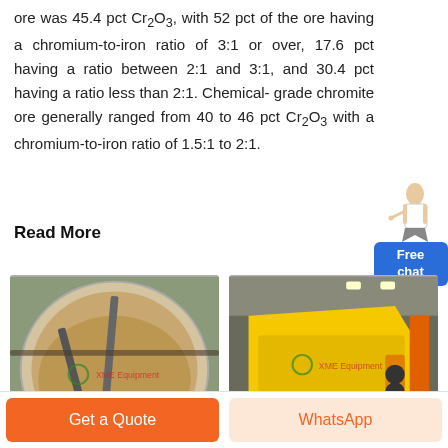ore was 45.4 pct Cr2O3, with 52 pct of the ore having a chromium-to-iron ratio of 3:1 or over, 17.6 pct having a ratio between 2:1 and 3:1, and 30.4 pct having a ratio less than 2:1. Chemical-grade chromite ore generally ranged from 40 to 46 pct Cr2O3 with a chromium-to-iron ratio of 1.5:1 to 2:1.
Read More
[Figure (photo): Aerial view of a large circular industrial tank or thickener with a conveyor or walkway structure across it, showing brownish slurry. XME Equipment watermark visible.]
[Figure (photo): Yellow industrial mining or mineral processing machine (possibly a vibrating screen or shaker) inside a warehouse/factory setting. XME Equipment watermark visible.]
Get a Quote
WhatsApp